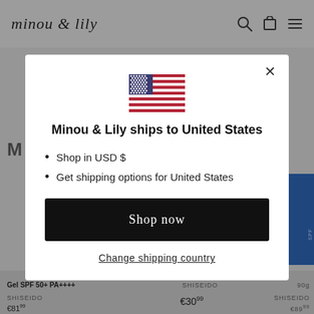minou & lily
[Figure (screenshot): A modal dialog on the minou & lily e-commerce website showing a US flag, the message 'Minou & Lily ships to United States', bullet points 'Shop in USD $' and 'Get shipping options for United States', a 'Shop now' button, and a 'Change shipping country' link.]
Minou & Lily ships to United States
Shop in USD $
Get shipping options for United States
Shop now
Change shipping country